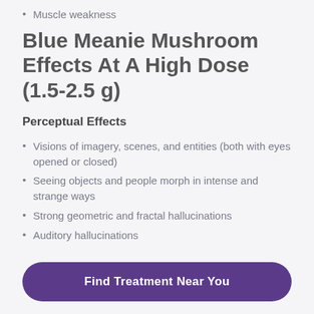Muscle weakness
Blue Meanie Mushroom Effects At A High Dose (1.5-2.5 g)
Perceptual Effects
Visions of imagery, scenes, and entities (both with eyes opened or closed)
Seeing objects and people morph in intense and strange ways
Strong geometric and fractal hallucinations
Auditory hallucinations
Find Treatment Near You